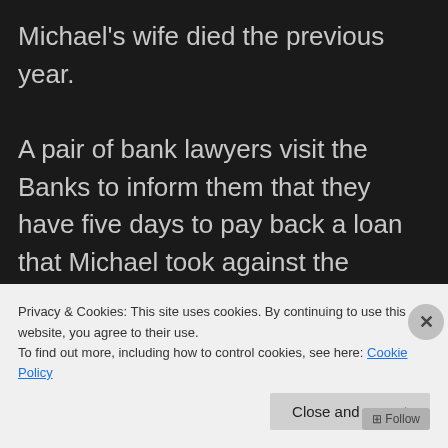Michael's wife died the previous year.

A pair of bank lawyers visit the Banks to inform them that they have five days to pay back a loan that Michael took against the house, or they will be evicted from it. Eventually, they realize that their father owned shares in the bank, and those could be used to pay off the loan. If only they can find those shares — and have them recognized by Mr. Wilkins (Colin Firth), Michael's boss at the
Privacy & Cookies: This site uses cookies. By continuing to use this website, you agree to their use.
To find out more, including how to control cookies, see here: Cookie Policy